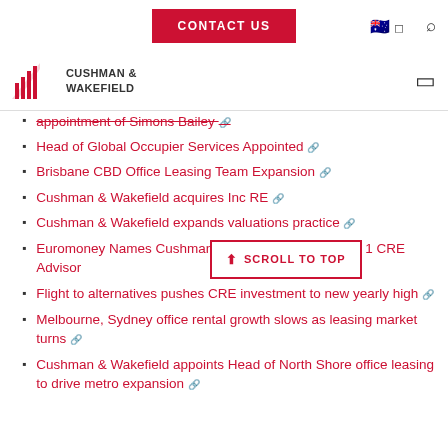CONTACT US | [AU flag] | [search icon]
[Figure (logo): Cushman & Wakefield logo with red building icon and company name]
appointment of Simons Bailey
Head of Global Occupier Services Appointed
Brisbane CBD Office Leasing Team Expansion
Cushman & Wakefield acquires Inc RE
Cushman & Wakefield expands valuations practice
Euromoney Names Cushman & Wakefield World's No. 1 CRE Advisor
Flight to alternatives pushes CRE investment to new yearly high
Melbourne, Sydney office rental growth slows as leasing market turns
Cushman & Wakefield appoints Head of North Shore office leasing to drive metro expansion